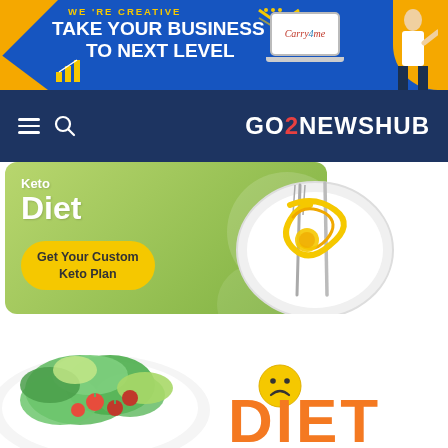[Figure (illustration): Banner advertisement with blue and orange design reading WE'RE CREATIVE / TAKE YOUR BUSINESS TO NEXT LEVEL, with Carry4me laptop mockup and businessman pointing]
GO2NEWSHUB
[Figure (illustration): Keto Diet advertisement banner with green background, white text reading Keto Diet, yellow button Get Your Custom Keto Plan, and a plate with measuring tape]
[Figure (photo): Salad bowl with green leaves, cherry tomatoes on white plate, with a sad face emoji and large orange DIET text partially visible]